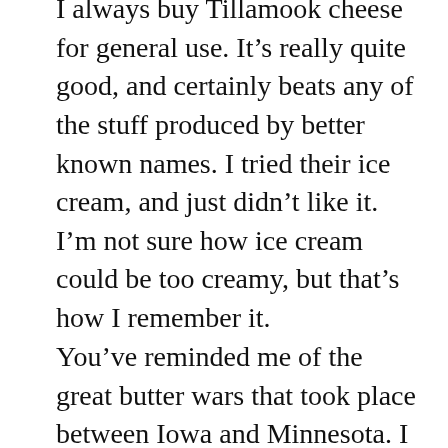I always buy Tillamook cheese for general use. It’s really quite good, and certainly beats any of the stuff produced by better known names. I tried their ice cream, and just didn’t like it. I’m not sure how ice cream could be too creamy, but that’s how I remember it.
You’ve reminded me of the great butter wars that took place between Iowa and Minnesota. I have a friend whose